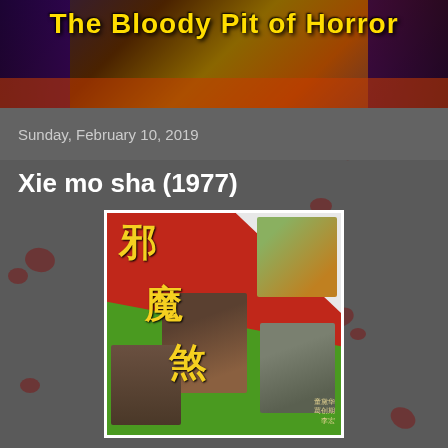The Bloody Pit of Horror
Sunday, February 10, 2019
Xie mo sha (1977)
[Figure (photo): Movie poster for Xie mo sha (1977) featuring Chinese characters in yellow on red and green diagonal background with horror film imagery including actors and creature figures]